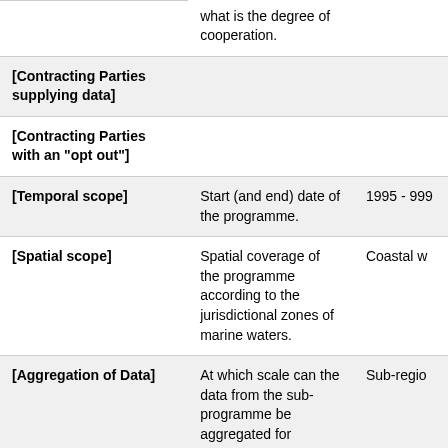|  | what is the degree of cooperation. |  |
| [Contracting Parties supplying data] |  |  |
| [Contracting Parties with an "opt out"] |  |  |
| [Temporal scope] | Start (and end) date of the programme. | 1995 - 999... |
| [Spatial scope] | Spatial coverage of the programme according to the jurisdictional zones of marine waters. | Coastal w... |
| [Aggregation of Data] | At which scale can the data from the sub-programme be aggregated for environmental... | Sub-regio... |